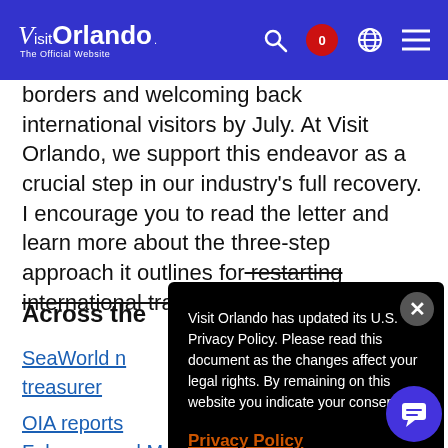Visit Orlando — The Official Website
borders and welcoming back international visitors by July. At Visit Orlando, we support this endeavor as a crucial step in our industry's full recovery. I encourage you to read the letter and learn more about the three-step approach it outlines for restarting international travel.
Across the
SeaWorld names new treasurer
OIA reports February and March
Visit Orlando has updated its U.S. Privacy Policy. Please read this document as the changes affect your legal rights. By remaining on this website you indicate your consent.
Privacy Policy